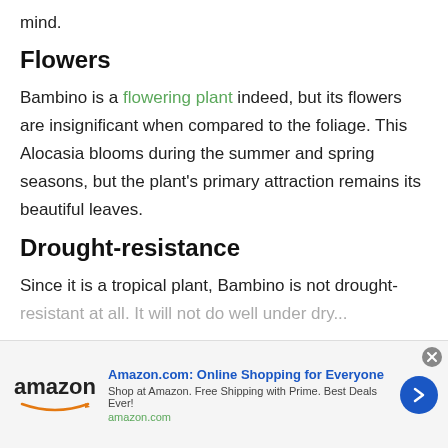mind.
Flowers
Bambino is a flowering plant indeed, but its flowers are insignificant when compared to the foliage. This Alocasia blooms during the summer and spring seasons, but the plant's primary attraction remains its beautiful leaves.
Drought-resistance
Since it is a tropical plant, Bambino is not drought-resistant at all. It will not do well under dry...
[Figure (infographic): Amazon.com advertisement banner with Amazon logo, title 'Amazon.com: Online Shopping for Everyone', subtitle 'Shop at Amazon. Free Shipping with Prime. Best Deals Ever!', domain 'amazon.com', a blue arrow button, and a close X button.]